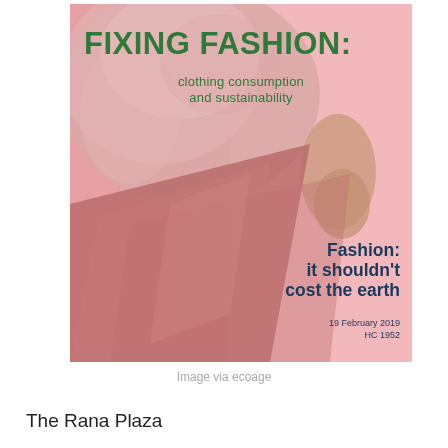[Figure (illustration): Magazine cover for 'Fixing Fashion: clothing consumption and sustainability' report (HC 1952, 19 February 2019). Pink background with a person wearing a pink fluffy/fur garment and pink silky skirt. Green text for the main title and subtitle at the top; dark teal bold text reading 'Fashion: it shouldn't cost the earth' in the lower right. Date and reference number at bottom right.]
Image via ecoage
The Rana Plaza